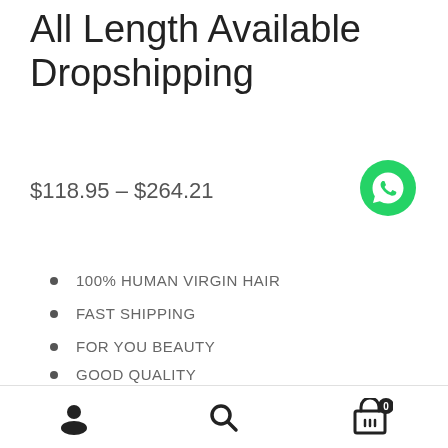All Length Available Dropshipping
$118.95 – $264.21
100% HUMAN VIRGIN HAIR
FAST SHIPPING
FOR YOU BEAUTY
GOOD QUALITY
BEST SERVICE
four bundles lengh
[Figure (logo): WhatsApp green phone icon]
[Figure (infographic): Bottom navigation bar with user icon, search icon, and cart icon with badge showing 0]